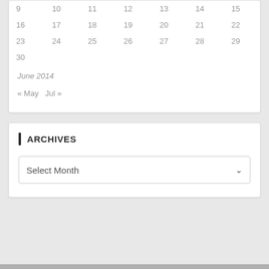| 9 | 10 | 11 | 12 | 13 | 14 | 15 |
| 16 | 17 | 18 | 19 | 20 | 21 | 22 |
| 23 | 24 | 25 | 26 | 27 | 28 | 29 |
| 30 |  |  |  |  |  |  |
June 2014
« May   Jul »
ARCHIVES
Select Month